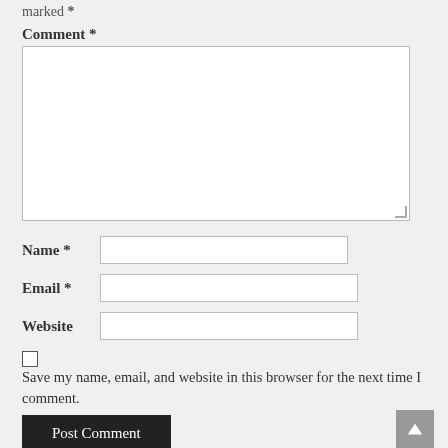marked *
Comment *
[Figure (screenshot): Large empty textarea input field for comment submission]
Name *
Email *
Website
Save my name, email, and website in this browser for the next time I comment.
Post Comment